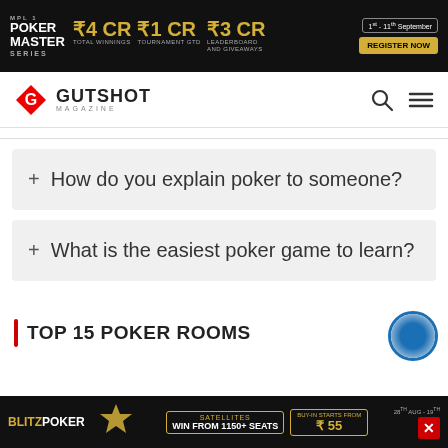[Figure (screenshot): Poker Master Series banner ad: MPL Poker Master Series, ₹4 CR Total Winnings, ₹1 CR Tournament GTD, ₹3 CR Leaderboard and Giveaways, 1st - 11th September, Register Now button]
[Figure (logo): Gutshot Magazine logo with red diamond G icon, GUTSHOT text, search and menu icons]
+ How do you explain poker to someone?
+ What is the easiest poker game to learn?
TOP 15 POKER ROOMS
[Figure (screenshot): BlitzPoker bottom banner ad: Millionaire Series, Satellites Win from 1150+ Seats, Buy-in Starts From ₹55, 28th Aug - 19th, T&C Apply]